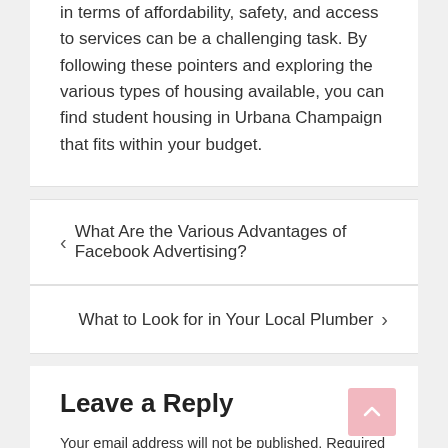in terms of affordability, safety, and access to services can be a challenging task. By following these pointers and exploring the various types of housing available, you can find student housing in Urbana Champaign that fits within your budget.
What Are the Various Advantages of Facebook Advertising?
What to Look for in Your Local Plumber
Leave a Reply
Your email address will not be published. Required fields are marked *
Comment *